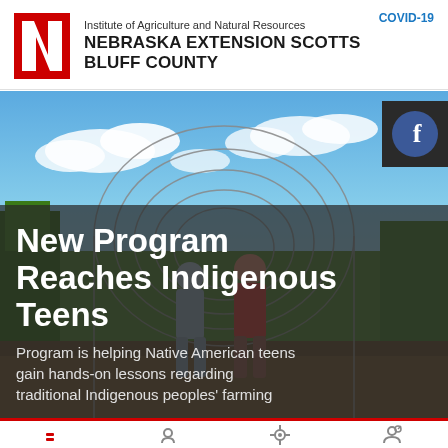COVID-19
Institute of Agriculture and Natural Resources
NEBRASKA EXTENSION SCOTTS BLUFF COUNTY
[Figure (photo): Two teenagers standing in a farm field under a wire hoop structure, with green crops and blue sky with clouds in the background. A Facebook icon badge is overlaid in the top right corner.]
New Program Reaches Indigenous Teens
Program is helping Native American teens gain hands-on lessons regarding traditional Indigenous peoples' farming